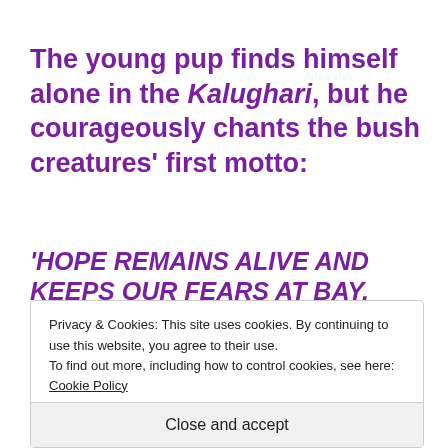The young pup finds himself alone in the Kalughari, but he courageously chants the bush creatures' first motto:
'HOPE REMAINS ALIVE AND KEEPS OUR FEARS AT BAY.
'LET'S KEEP OUR HOPE ALIVE THROUGHOUT EACH
Privacy & Cookies: This site uses cookies. By continuing to use this website, you agree to their use. To find out more, including how to control cookies, see here: Cookie Policy
Close and accept